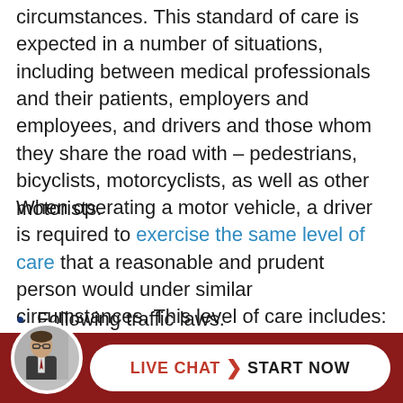circumstances. This standard of care is expected in a number of situations, including between medical professionals and their patients, employers and employees, and drivers and those whom they share the road with – pedestrians, bicyclists, motorcyclists, as well as other motorists.
When operating a motor vehicle, a driver is required to exercise the same level of care that a reasonable and prudent person would under similar circumstances. This level of care includes:
Following traffic laws.
Obeying traffic signs or signals.
[Figure (other): Footer bar with lawyer avatar photo and Live Chat / Start Now button on dark red background]